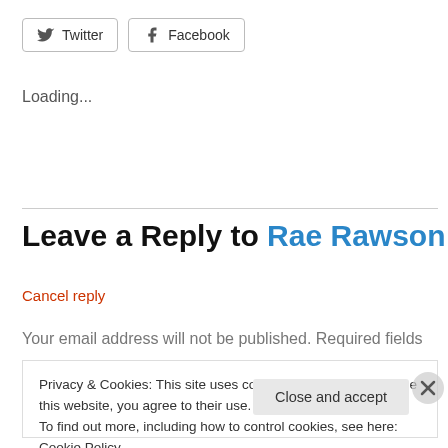[Figure (other): Twitter and Facebook social sharing buttons]
Loading...
Leave a Reply to Rae Rawson
Cancel reply
Your email address will not be published. Required fields
Privacy & Cookies: This site uses cookies. By continuing to use this website, you agree to their use.
To find out more, including how to control cookies, see here: Cookie Policy